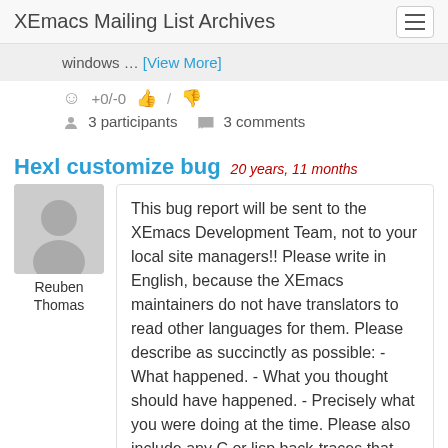XEmacs Mailing List Archives
windows … [View More]
+0/-0  /  3 participants  3 comments
Hexl customize bug  20 years, 11 months
Reuben Thomas
This bug report will be sent to the XEmacs Development Team, not to your local site managers!! Please write in English, because the XEmacs maintainers do not have translators to read other languages for them. Please describe as succinctly as possible: - What happened. - What you thought should have happened. - Precisely what you were doing at the time. Please also include any C or lisp back-traces that you may have.
======================================== ========================== Dear … [View